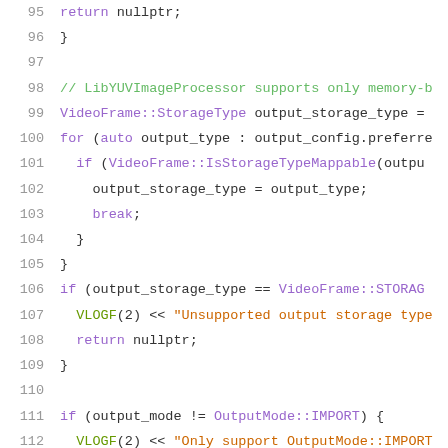Source code listing, lines 95-116, C++ code for LibYUVImageProcessor
95: return nullptr;
96: }
97: (blank)
98: // LibYUVImageProcessor supports only memory-b
99: VideoFrame::StorageType output_storage_type =
100: for (auto output_type : output_config.preferre
101: if (VideoFrame::IsStorageTypeMappable(outpu
102: output_storage_type = output_type;
103: break;
104: }
105: }
106: if (output_storage_type == VideoFrame::STORAG
107: VLOGF(2) << "Unsupported output storage type
108: return nullptr;
109: }
110: (blank)
111: if (output_mode != OutputMode::IMPORT) {
112: VLOGF(2) << "Only support OutputMode::IMPORT
113: return nullptr;
114: }
115: (blank)
116: SupportResult res = IsFormatSupported(input_c